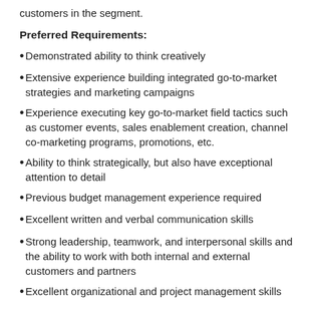customers in the segment.
Preferred Requirements:
Demonstrated ability to think creatively
Extensive experience building integrated go-to-market strategies and marketing campaigns
Experience executing key go-to-market field tactics such as customer events, sales enablement creation, channel co-marketing programs, promotions, etc.
Ability to think strategically, but also have exceptional attention to detail
Previous budget management experience required
Excellent written and verbal communication skills
Strong leadership, teamwork, and interpersonal skills and the ability to work with both internal and external customers and partners
Excellent organizational and project management skills